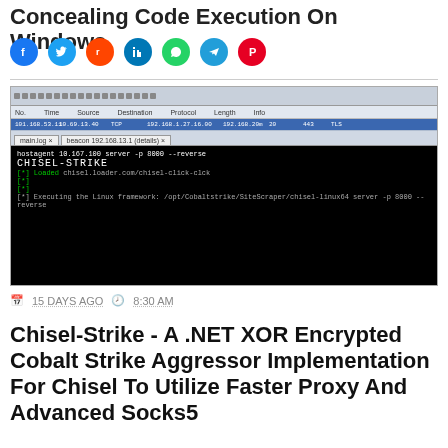Concealing Code Execution On Windows
[Figure (screenshot): Screenshot of a Wireshark packet capture window with a terminal below showing CHISEL-STRIKE ASCII art logo and command output including server start and plugin load messages]
15 DAYS AGO   8:30 AM
Chisel-Strike - A .NET XOR Encrypted Cobalt Strike Aggressor Implementation For Chisel To Utilize Faster Proxy And Advanced Socks5